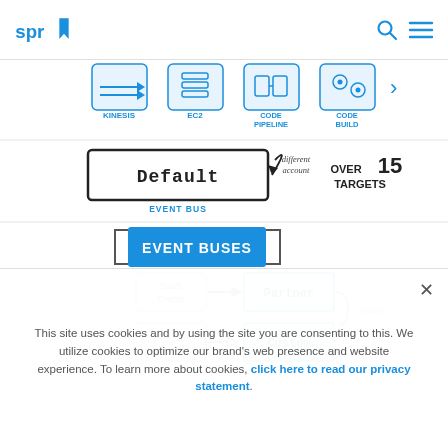SPR logo, search icon, menu icon
[Figure (infographic): AWS architecture diagram showing: top row with icons for KINESIS, EC2, CODE PIPELINE, CODE BUILD; middle section showing DEFAULT EVENT BUS with arrow labeled 'different account' and text 'OVER 15 TARGETS'; bottom section titled 'EVENT BUSES' showing SaaS Events and Your App Events routing to PARTNER and CUSTOM event buses labeled 'multiple']
A rule is associated with a specific event bus and only matches events received by THAT event bus. An account has one event bus by default, and this default bus receives
This site uses cookies and by using the site you are consenting to this. We utilize cookies to optimize our brand's web presence and website experience. To learn more about cookies, click here to read our privacy statement.